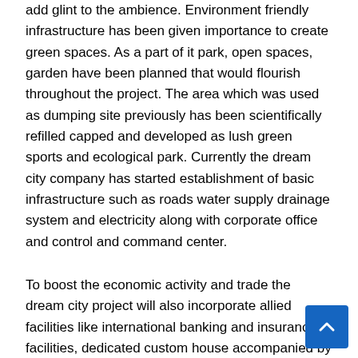add glint to the ambience. Environment friendly infrastructure has been given importance to create green spaces. As a part of it park, open spaces, garden have been planned that would flourish throughout the project. The area which was used as dumping site previously has been scientifically refilled capped and developed as lush green sports and ecological park. Currently the dream city company has started establishment of basic infrastructure such as roads water supply drainage system and electricity along with corporate office and control and command center.
To boost the economic activity and trade the dream city project will also incorporate allied facilities like international banking and insurance facilities, dedicated custom house accompanied by national diamond research institute, international convention center, international education facilities, five-star hotels and dedicated custom house with high security surveillance system. Development of Dumas Ubraat Beach